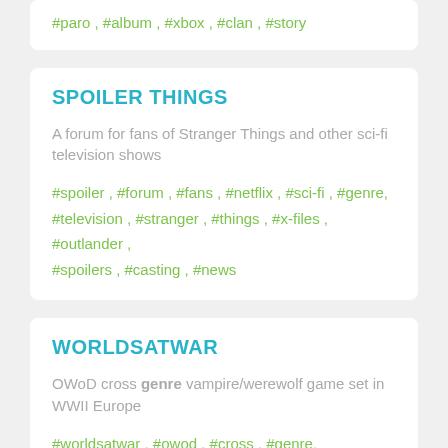#paro , #album , #xbox , #clan , #story
SPOILER THINGS
A forum for fans of Stranger Things and other sci-fi television shows
#spoiler , #forum , #fans , #netflix , #sci-fi , #genre, #television , #stranger , #things , #x-files , #outlander , #spoilers , #casting , #news
WORLDSATWAR
OWoD cross genre vampire/werewolf game set in WWII Europe
#worldsatwar , #owod , #cross , #genre, #vampire/werewolf , #game , #wwii , #europe